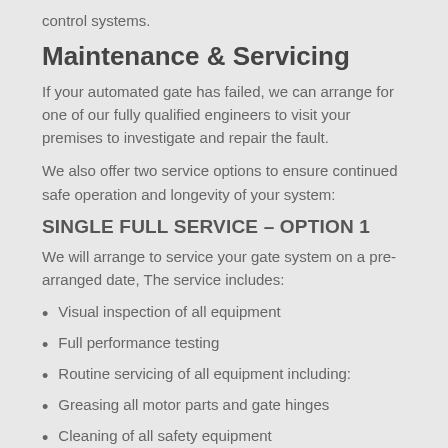control systems.
Maintenance & Servicing
If your automated gate has failed, we can arrange for one of our fully qualified engineers to visit your premises to investigate and repair the fault.
We also offer two service options to ensure continued safe operation and longevity of your system:
SINGLE FULL SERVICE – OPTION 1
We will arrange to service your gate system on a pre-arranged date, The service includes:
Visual inspection of all equipment
Full performance testing
Routine servicing of all equipment including:
Greasing all motor parts and gate hinges
Cleaning of all safety equipment
Fore all hard components finishing and direct...